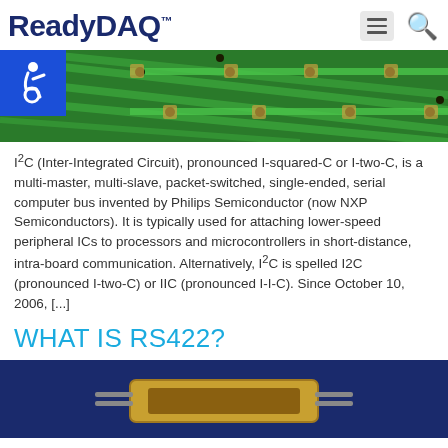ReadyDAQ™
[Figure (photo): Green circuit board close-up showing PCB traces and solder points]
I²C (Inter-Integrated Circuit), pronounced I-squared-C or I-two-C, is a multi-master, multi-slave, packet-switched, single-ended, serial computer bus invented by Philips Semiconductor (now NXP Semiconductors). It is typically used for attaching lower-speed peripheral ICs to processors and microcontrollers in short-distance, intra-board communication. Alternatively, I²C is spelled I2C (pronounced I-two-C) or IIC (pronounced I-I-C). Since October 10, 2006, [...]
WHAT IS RS422?
[Figure (photo): Blue background with electronic component/connector device]